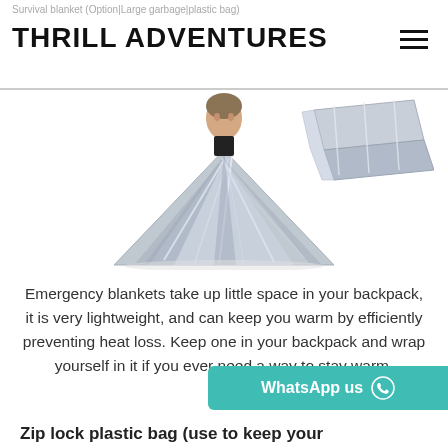Survival blanket (Option|Large garbage plastic bag)
THRILL ADVENTURES
[Figure (photo): Person wrapped in a silver emergency thermal/mylar blanket, seated, with a folded silver blanket shown in upper right corner. White background.]
Emergency blankets take up little space in your backpack, it is very lightweight, and can keep you warm by efficiently preventing heat loss. Keep one in your backpack and wrap yourself in it if you ever need a way to stay warm.
WhatsApp us
Zip lock plastic bag (use to keep your